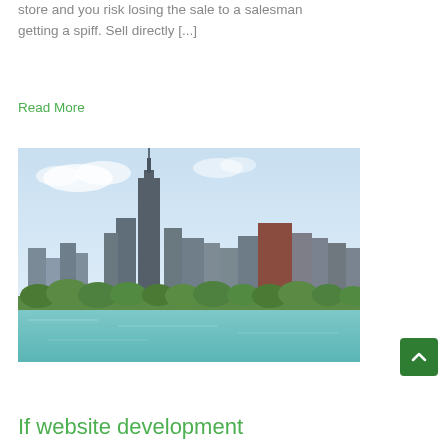store and you risk losing the sale to a salesman getting a spiff. Sell directly [...]
Read More
[Figure (photo): City skyline photo showing tall skyscrapers including a prominent tower (resembling Willis/Sears Tower in Chicago) against a light blue sky, with green trees and teal water in the foreground.]
If website development